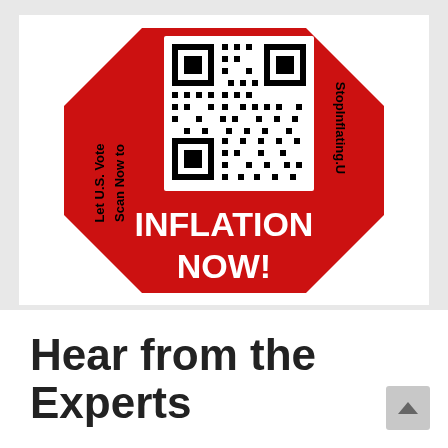[Figure (illustration): A red stop-sign shaped sticker/label with cut octagon corners. In the center top is a QR code on a white background. On the left side, vertically rotated text reads 'Scan Now to Let U.S. Vote'. On the right side, vertically rotated text reads 'StopInflating.U'. At the bottom in large white bold text on red background: 'INFLATION NOW!']
Hear from the Experts